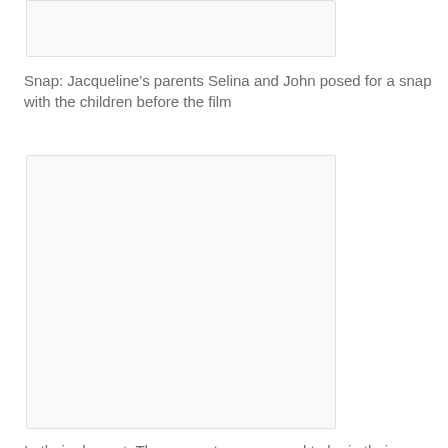[Figure (photo): Top cropped photo placeholder (partial image visible at top of page)]
Snap: Jacqueline’s parents Selina and John posed for a snap with the children before the film
[Figure (photo): Photo of youngsters enjoying their day out]
In their element: The youngsters appeared to be in their element as they enjoyed their day out